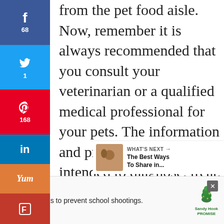from the pet food aisle. Now, remember it is always recommended that you consult your veterinarian or a qualified medical professional for your pets. The information and products are not intended to diagnose, treat, cure or prevent any disease or medical problems.
[Figure (screenshot): Social media sharing sidebar with Facebook (68), Twitter (1), Pinterest (168), LinkedIn, Yummly, and Flipboard buttons]
[Figure (screenshot): Heart/like button showing 238 likes and a share button]
[Figure (screenshot): What's Next panel showing a dog photo thumbnail and text: The Best Ways To Share in...]
[Figure (screenshot): Advertisement banner: Learn the signs to prevent school shootings. Sandy Hook Promise logo.]